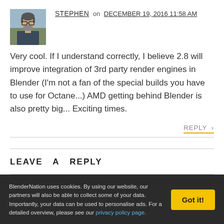[Figure (photo): Avatar photo of commenter Stephen — a man with glasses and a beard, outdoors]
STEPHEN on DECEMBER 19, 2016 11:58 AM
Very cool. If I understand correctly, I believe 2.8 will improve integration of 3rd party render engines in Blender (I'm not a fan of the special builds you have to use for Octane...) AMD getting behind Blender is also pretty big... Exciting times.
REPLY >
LEAVE A REPLY
BlenderNation uses cookies. By using our website, our partners will also be able to collect some of your data. Importantly, your data can be used to personalise ads. For a detailed overview, please see our privacy policy page.